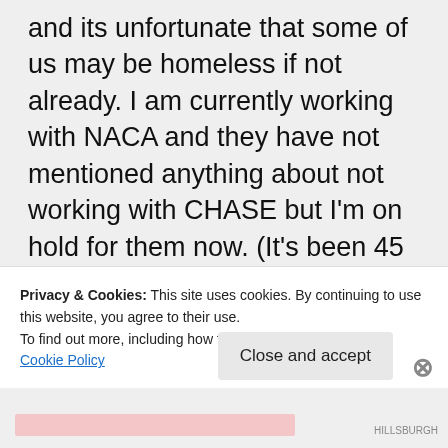and its unfortunate that some of us may be homeless if not already. I am currently working with NACA and they have not mentioned anything about not working with CHASE but I'm on hold for them now. (It's been 45 minutes) I am all for a lawsuit! I have so much time and money invested in my home that I'm furious that some bank took six years worth of interest only
Privacy & Cookies: This site uses cookies. By continuing to use this website, you agree to their use.
To find out more, including how to control cookies, see here: Cookie Policy